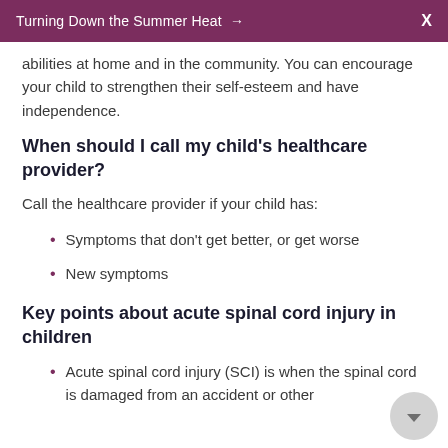Turning Down the Summer Heat →  X
abilities at home and in the community. You can encourage your child to strengthen their self-esteem and have independence.
When should I call my child's healthcare provider?
Call the healthcare provider if your child has:
Symptoms that don't get better, or get worse
New symptoms
Key points about acute spinal cord injury in children
Acute spinal cord injury (SCI) is when the spinal cord is damaged from an accident or other